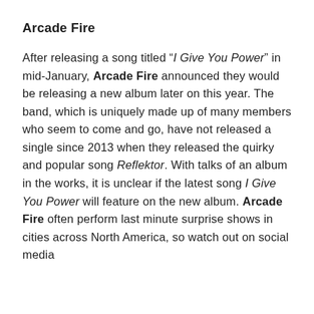Arcade Fire
After releasing a song titled “I Give You Power” in mid-January, Arcade Fire announced they would be releasing a new album later on this year. The band, which is uniquely made up of many members who seem to come and go, have not released a single since 2013 when they released the quirky and popular song Reflektor. With talks of an album in the works, it is unclear if the latest song I Give You Power will feature on the new album. Arcade Fire often perform last minute surprise shows in cities across North America, so watch out on social media